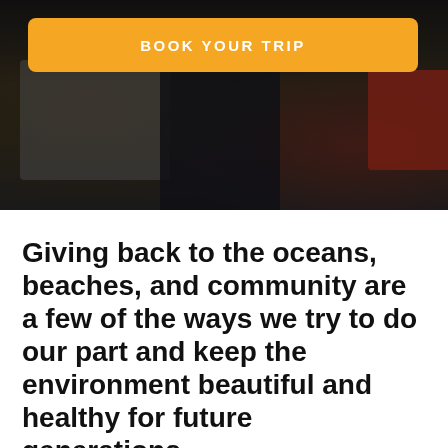[Figure (photo): Dark photo of a person in a blue apron or dark clothing, with grey equipment on the left and a red container on the right, with a dark overlay. An orange 'BOOK YOUR TRIP' button is overlaid at the top.]
Giving back to the oceans, beaches, and community are a few of the ways we try to do our part and keep the environment beautiful and healthy for future generations.